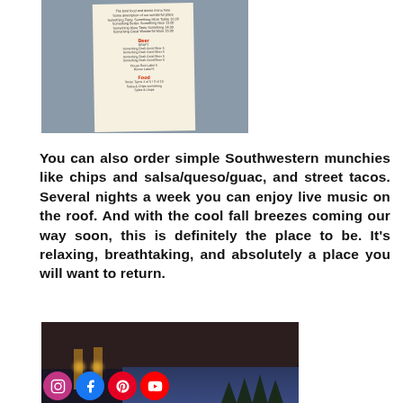[Figure (photo): A restaurant/bar menu card (cream/tan colored) photographed on a gray textured surface, showing sections titled Wine, Beer, and Food in red text with menu items listed below each]
You can also order simple Southwestern munchies like chips and salsa/queso/guac, and street tacos. Several nights a week you can enjoy live music on the roof. And with the cool fall breezes coming our way soon, this is definitely the place to be. It’s relaxing, breathtaking, and absolutely a place you will want to return.
[Figure (photo): A rooftop bar/restaurant at night with dark ceiling, warm lighting from pillars, twilight sky visible in the background, and social media icons (Instagram, Facebook, Pinterest, YouTube) overlaid at the bottom left]